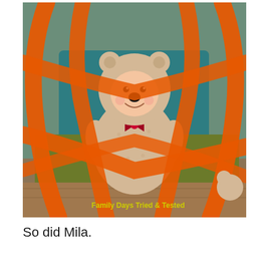[Figure (photo): A baby dressed in a fluffy bear/dog Halloween costume with a red bow tie, sitting inside a large orange pumpkin costume or prop made of orange fabric strips forming a cage-like structure. The baby is smiling. Green blanket on the floor, teal fabric in background. Watermark reads 'Family Days Tried & Tested' in yellow text at bottom right of photo.]
So did Mila.